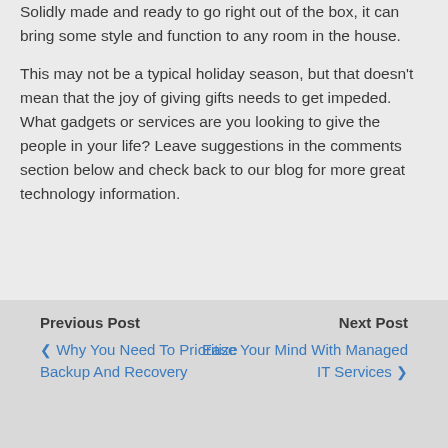Solidly made and ready to go right out of the box, it can bring some style and function to any room in the house.
This may not be a typical holiday season, but that doesn't mean that the joy of giving gifts needs to get impeded. What gadgets or services are you looking to give the people in your life? Leave suggestions in the comments section below and check back to our blog for more great technology information.
Previous Post | Why You Need To Prioritize Backup And Recovery | Next Post | Ease Your Mind With Managed IT Services